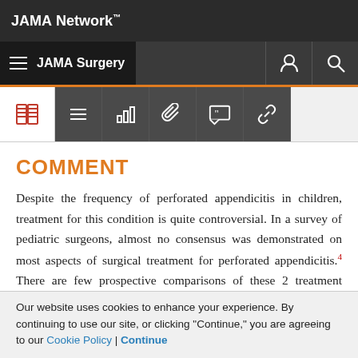JAMA Network
JAMA Surgery
COMMENT
Despite the frequency of perforated appendicitis in children, treatment for this condition is quite controversial. In a survey of pediatric surgeons, almost no consensus was demonstrated on most aspects of surgical treatment for perforated appendicitis.4 There are few prospective comparisons of these 2 treatment options
Our website uses cookies to enhance your experience. By continuing to use our site, or clicking "Continue," you are agreeing to our Cookie Policy | Continue